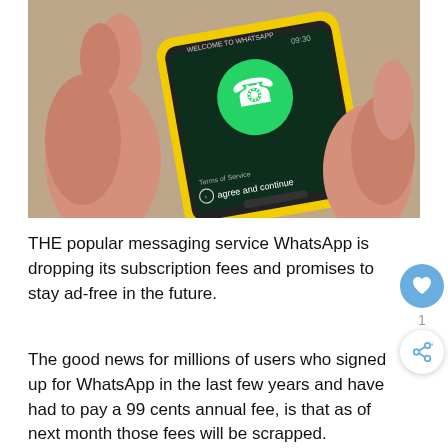[Figure (photo): A hand holding a smartphone with a yellow case displaying the WhatsApp welcome/terms screen with the WhatsApp logo (white phone icon in green speech bubble) and text 'agree and continue' visible on the dark screen.]
THE popular messaging service WhatsApp is dropping its subscription fees and promises to stay ad-free in the future.
The good news for millions of users who signed up for WhatsApp in the last few years and have had to pay a 99 cents annual fee, is that as of next month those fees will be scrapped.